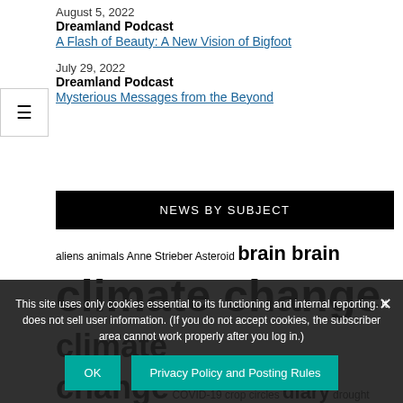August 5, 2022
Dreamland Podcast
A Flash of Beauty: A New Vision of Bigfoot
July 29, 2022
Dreamland Podcast
Mysterious Messages from the Beyond
NEWS BY SUBJECT
aliens animals Anne Strieber Asteroid brain brain climate change climate change COVID-19 crop circles diary drought earth Earth day every day Earthdayeveryday flu food Global
This site uses only cookies essential to its functioning and internal reporting. It does not sell user information. (If you do not accept cookies, the subscriber area cannot work properly after you log in.)